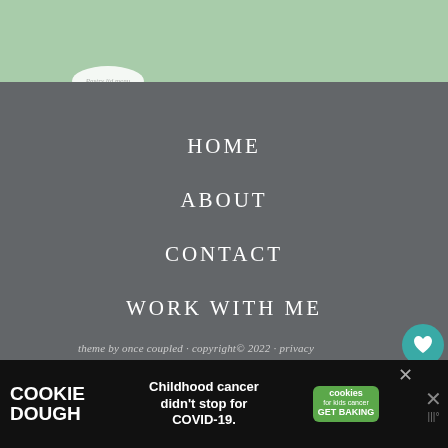[Figure (screenshot): Green banner at top of webpage]
[Figure (logo): Small circular logo badge partially visible]
HOME
ABOUT
CONTACT
WORK WITH ME
theme by once coupled · copyright© 2022 · privacy
exclusive member of mediavine food
[Figure (infographic): Social share sidebar with heart icon (teal), 463K count badge, and share icon on white circles]
[Figure (infographic): Cookie Dough ad banner: COOKIE DOUGH logo, 'Childhood cancer didn't stop for COVID-19.', cookies for kids cancer GET BAKING badge]